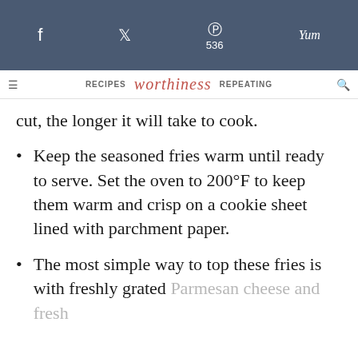f  [twitter]  p 536  yum
RECIPES  worthiness  REPEATING
cut, the longer it will take to cook.
Keep the seasoned fries warm until ready to serve. Set the oven to 200°F to keep them warm and crisp on a cookie sheet lined with parchment paper.
The most simple way to top these fries is with freshly grated Parmesan cheese and fresh